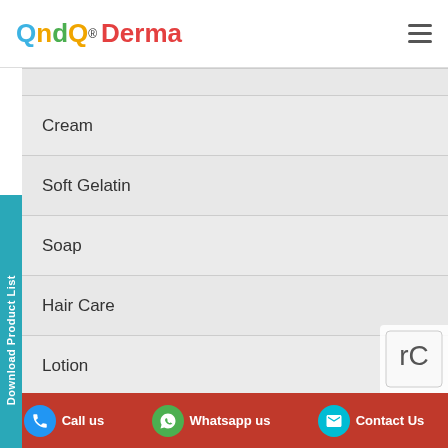QndQ® Derma
Cream
Soft Gelatin
Soap
Hair Care
Lotion
Upcoming
Dusting Powder
Call us   Whatsapp us   Contact Us